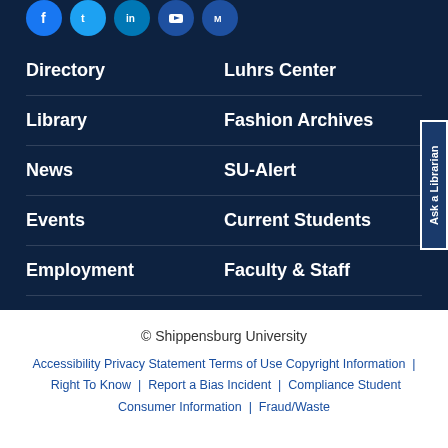[Figure (other): Social media icon buttons (Facebook, Twitter, LinkedIn, YouTube, RSS) as circular blue icons]
Directory
Luhrs Center
Library
Fashion Archives
News
SU-Alert
Events
Current Students
Employment
Faculty & Staff
Community
Feedback
Ask a Librarian
© Shippensburg University
Accessibility Privacy Statement Terms of Use Copyright Information | Right To Know | Report a Bias Incident | Compliance Student Consumer Information | Fraud/Waste